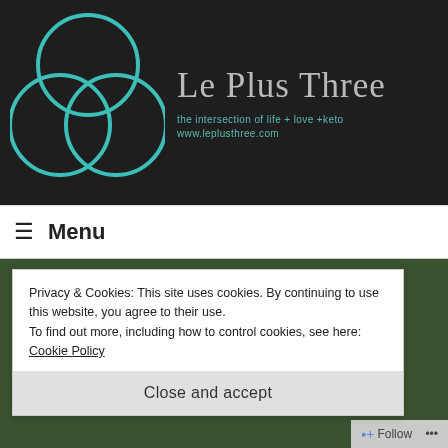[Figure (logo): Le Plus Three website header with three overlapping teal circles logo on dark background, site title 'Le Plus Three', tagline 'the intersection of life + love +keto', and URL 'www.leplusthree.com']
≡ Menu
Privacy & Cookies: This site uses cookies. By continuing to use this website, you agree to their use.
To find out more, including how to control cookies, see here: Cookie Policy
Close and accept